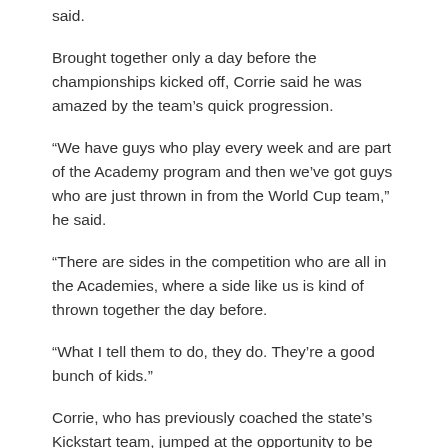said.
Brought together only a day before the championships kicked off, Corrie said he was amazed by the team’s quick progression.
“We have guys who play every week and are part of the Academy program and then we’ve got guys who are just thrown in from the World Cup team,” he said.
“There are sides in the competition who are all in the Academies, where a side like us is kind of thrown together the day before.
“What I tell them to do, they do. They’re a good bunch of kids.”
Corrie, who has previously coached the state’s Kickstart team, jumped at the opportunity to be involved and is relishing the experience.